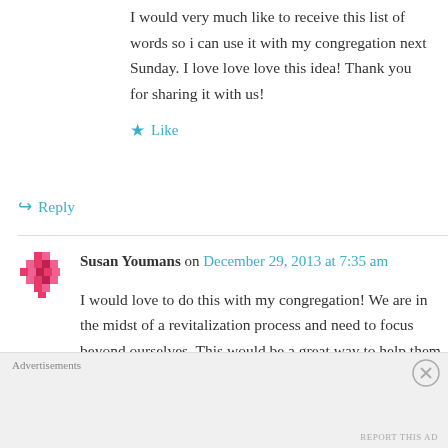I would very much like to receive this list of words so i can use it with my congregation next Sunday. I love love love this idea! Thank you for sharing it with us!
Like
Reply
Susan Youmans on December 29, 2013 at 7:35 am
I would love to do this with my congregation! We are in the midst of a revitalization process and need to focus beyond ourselves. This would be a great way to help them with the process!! Could
Advertisements
REPORT THIS AD